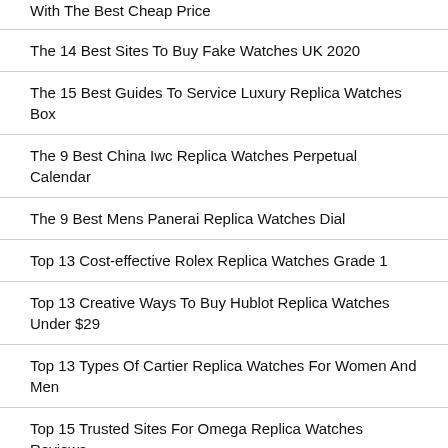With The Best Cheap Price
The 14 Best Sites To Buy Fake Watches UK 2020
The 15 Best Guides To Service Luxury Replica Watches Box
The 9 Best China Iwc Replica Watches Perpetual Calendar
The 9 Best Mens Panerai Replica Watches Dial
Top 13 Cost-effective Rolex Replica Watches Grade 1
Top 13 Creative Ways To Buy Hublot Replica Watches Under $29
Top 13 Types Of Cartier Replica Watches For Women And Men
Top 15 Trusted Sites For Omega Replica Watches Reviews